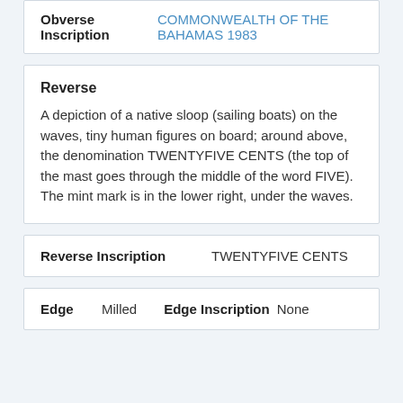| Obverse Inscription |  |
| --- | --- |
| Obverse Inscription | COMMONWEALTH OF THE BAHAMAS 1983 |
| Reverse |  |
| --- | --- |
| Reverse | A depiction of a native sloop (sailing boats) on the waves, tiny human figures on board; around above, the denomination TWENTYFIVE CENTS (the top of the mast goes through the middle of the word FIVE). The mint mark is in the lower right, under the waves. |
| Reverse Inscription | TWENTYFIVE CENTS |
| --- | --- |
| Reverse Inscription | TWENTYFIVE CENTS |
| Edge | Milled | Edge Inscription | None |
| --- | --- | --- | --- |
| Edge | Milled | Edge Inscription | None |